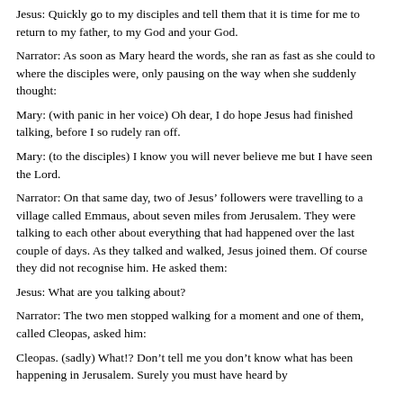Jesus:  Quickly go to my disciples and tell them that it is time for me to return to my father, to my God and your God.
Narrator: As soon as Mary heard the words, she ran as fast as she could to where the disciples were, only pausing on the way when she suddenly thought:
Mary:  (with panic in her voice) Oh dear, I do hope Jesus had finished talking, before I so rudely ran off.
Mary: (to the disciples) I know you will never believe me but I have seen the Lord.
Narrator: On that same day, two of Jesus' followers were travelling to a village called Emmaus, about seven miles from Jerusalem.  They were talking to each other about everything that had happened over the last couple of days.  As they talked and walked, Jesus joined them. Of course they did not recognise him.  He asked them:
Jesus:  What are you talking about?
Narrator: The two men stopped walking for a moment and one of them, called Cleopas, asked him:
Cleopas. (sadly) What!? Don't tell me you don't know what has been happening in Jerusalem.  Surely you must have heard by